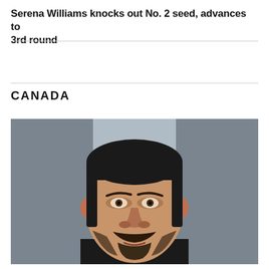Serena Williams knocks out No. 2 seed, advances to 3rd round
CANADA
[Figure (photo): Mugshot-style photo of a middle-aged man with dark hair, a goatee and mustache, against a grey background.]